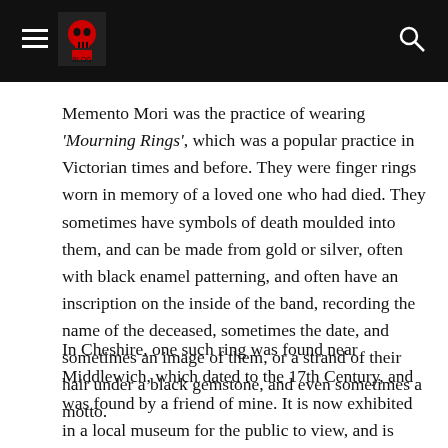[Navigation bar with hamburger menu, logo, and search icon]
Memento Mori was the practice of wearing 'Mourning Rings', which was a popular practice in Victorian times and before. They were finger rings worn in memory of a loved one who had died. They sometimes have symbols of death moulded into them, and can be made from gold or silver, often with black enamel patterning, and often have an inscription on the inside of the band, recording the name of the deceased, sometimes the date, and sometimes an image of them, or a strand of their hair under a black gemstone, and even sometimes a motto.
In Cheshire, one such ring was found near Middlewich, which dated to the 17th Century, and was found by a friend of mine. It is now exhibited in a local museum for the public to view, and is inscribed with a message, which I used above as a subtitle, which is:-